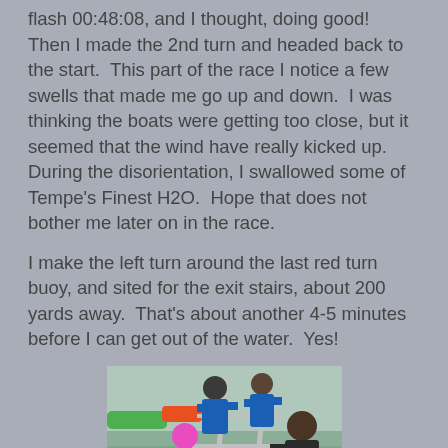flash 00:48:08, and I thought, doing good!  Then I made the 2nd turn and headed back to the start.  This part of the race I notice a few swells that made me go up and down.  I was thinking the boats were getting too close, but it seemed that the wind have really kicked up.  During the disorientation, I swallowed some of Tempe's Finest H2O.  Hope that does not bother me later on in the race.
I make the left turn around the last red turn buoy, and sited for the exit stairs, about 200 yards away.  That's about another 4-5 minutes before I can get out of the water.  Yes!
[Figure (photo): A person in a pink swim cap climbing exit stairs out of a body of water, with helpers in blue shirts assisting on a metal staircase ramp. Water is visible in the background along with colorful floats.]